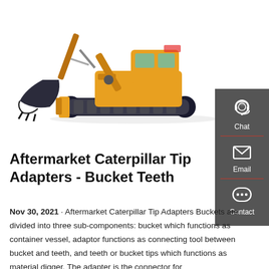[Figure (photo): Yellow excavator/mini digger with bucket arm extended, shown on white background]
Aftermarket Caterpillar Tip Adapters - Bucket Teeth
Nov 30, 2021 · Aftermarket Caterpillar Tip Adapters Buckets are divided into three sub-components: bucket which functions as container vessel, adaptor functions as connecting tool between bucket and teeth, and teeth or bucket tips which functions as material digger. The adapter is the connector for